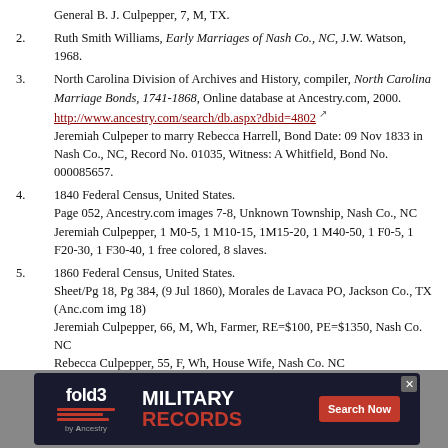General B. J. Culpepper, 7, M, TX.
2. Ruth Smith Williams, Early Marriages of Nash Co., NC, J.W. Watson, 1968.
3. North Carolina Division of Archives and History, compiler, North Carolina Marriage Bonds, 1741-1868, Online database at Ancestry.com, 2000.
http://www.ancestry.com/search/db.aspx?dbid=4802
Jeremiah Culpeper to marry Rebecca Harrell, Bond Date: 09 Nov 1833 in Nash Co., NC, Record No. 01035, Witness: A Whitfield, Bond No. 000085657.
4. 1840 Federal Census, United States.
Page 052, Ancestry.com images 7-8, Unknown Township, Nash Co., NC
Jeremiah Culpepper, 1 M0-5, 1 M10-15, 1M15-20, 1 M40-50, 1 F0-5, 1 F20-30, 1 F30-40, 1 free colored, 8 slaves.
5. 1860 Federal Census, United States.
Sheet/Pg 18, Pg 384, (9 Jul 1860), Morales de Lavaca PO, Jackson Co., TX (Anc.com img 18)
Jeremiah Culpepper, 66, M, Wh, Farmer, RE=$100, PE=$1350, Nash Co. NC
Rebecca Culpepper, 55, F, Wh, House Wife, Nash Co. NC
Thomas Culpepper, 18, M, Wh, Teamster, Nash Co. NC
Blunt J. Culpepper, 16, M, Wh, Farrow Work, Nash Co. NC
Hiram Emmons, 35, M, Wh, House Carpenter, PE=$75, Miss
Martha Emmons, 6, F, Wh, Lavaca Co. TX
Sarah Emmons, 4, F, Wh, Lavaca Co. TX
Fra...
Be...
[Figure (screenshot): Fold3 Military Records advertisement banner with ancestry logo, search now button, and close button]